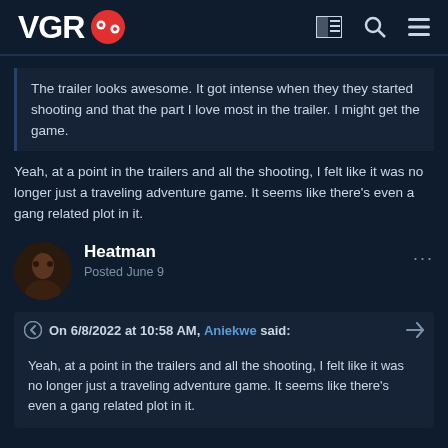VGR [logo]
The trailer looks awesome. It got intense when they they started shooting and that the part I love most in the trailer. I might get the game.
Yeah, at a point in the trailers and all the shooting, I felt like it was no longer just a traveling adventure game. It seems like there's even a gang related plot in it.
Heatman
Posted June 9
On 6/8/2022 at 10:58 AM, Aniekwe said:
Yeah, at a point in the trailers and all the shooting, I felt like it was no longer just a traveling adventure game. It seems like there's even a gang related plot in it.